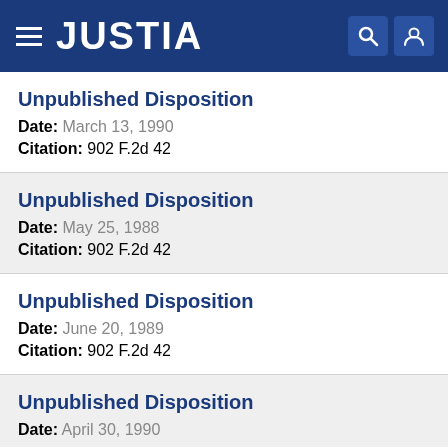JUSTIA
Unpublished Disposition
Date: March 13, 1990
Citation: 902 F.2d 42
Unpublished Disposition
Date: May 25, 1988
Citation: 902 F.2d 42
Unpublished Disposition
Date: June 20, 1989
Citation: 902 F.2d 42
Unpublished Disposition
Date: April 30, 1990